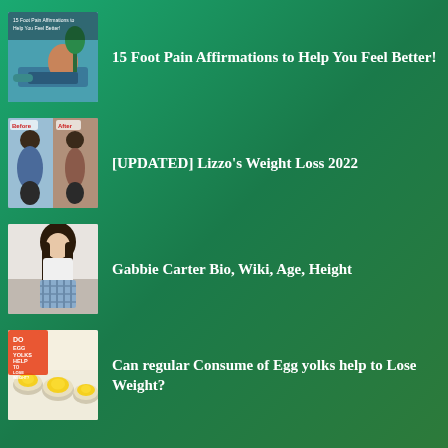15 Foot Pain Affirmations to Help You Feel Better!
[UPDATED] Lizzo’s Weight Loss 2022
Gabbie Carter Bio, Wiki, Age, Height
Can regular Consume of Egg yolks help to Lose Weight?